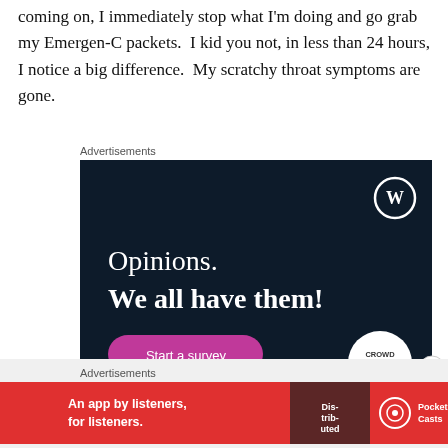coming on, I immediately stop what I'm doing and go grab my Emergen-C packets.  I kid you not, in less than 24 hours, I notice a big difference.  My scratchy throat symptoms are gone.
[Figure (illustration): Dark navy blue advertisement for WordPress/Crowdsignal. Shows WordPress logo (W in circle) top right. Text reads 'Opinions. We all have them!' with a pink 'Start a survey' button and Crowdsignal logo bottom right.]
[Figure (illustration): Red advertisement banner for Pocket Casts. Text reads 'An app by listeners, for listeners.' with Pocket Casts logo and a phone image showing 'Distributed' podcast app.]